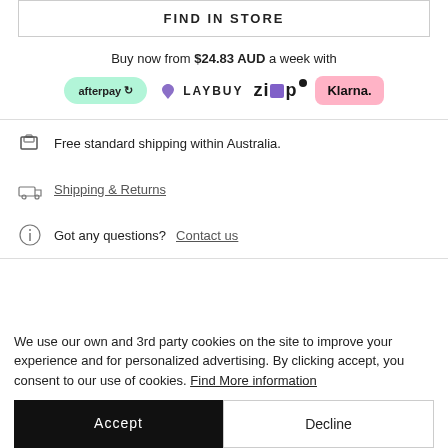FIND IN STORE
Buy now from $24.83 AUD a week with
[Figure (logo): Payment method logos: Afterpay, Laybuy, Zip, Klarna]
Free standard shipping within Australia.
Shipping & Returns
Got any questions? Contact us
We use our own and 3rd party cookies on the site to improve your experience and for personalized advertising. By clicking accept, you consent to our use of cookies. Find More information
Accept
Decline